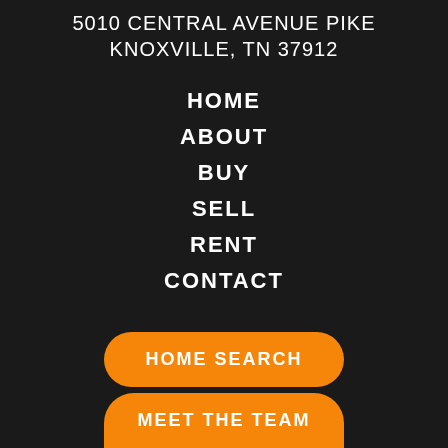5010 CENTRAL AVENUE PIKE
KNOXVILLE, TN 37912
HOME
ABOUT
BUY
SELL
RENT
CONTACT
HOME SEARCH
MEET THE TEAM